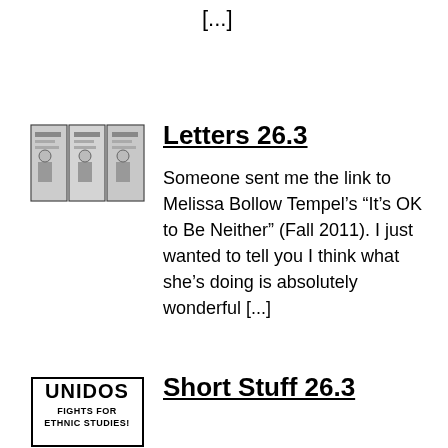[...]
[Figure (illustration): Small comic strip thumbnail image, black and white panels]
Letters 26.3
Someone sent me the link to Melissa Bollow Tempel’s “It’s OK to Be Neither” (Fall 2011). I just wanted to tell you I think what she’s doing is absolutely wonderful [...]
[Figure (logo): UNIDOS FIGHTS FOR ETHNIC STUDIES logo, black and white text]
Short Stuff 26.3